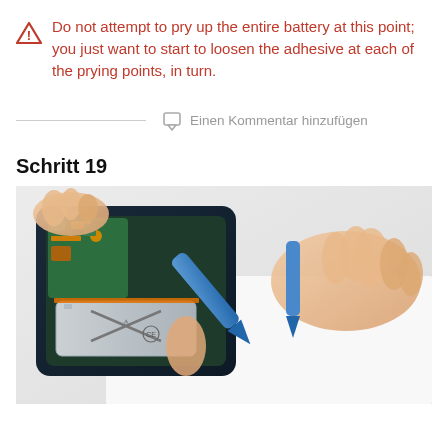Do not attempt to pry up the entire battery at this point; you just want to start to loosen the adhesive at each of the prying points, in turn.
Einen Kommentar hinzufügen
Schritt 19
[Figure (photo): Hands using a blue plastic prying tool to loosen the battery adhesive inside an open smartphone. The phone internals including battery, circuit board, and components are visible.]